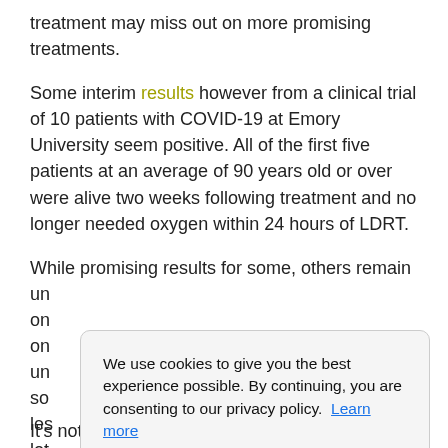treatment may miss out on more promising treatments.
Some interim results however from a clinical trial of 10 patients with COVID-19 at Emory University seem positive. All of the first five patients at an average of 90 years old or over were alive two weeks following treatment and no longer needed oxygen within 24 hours of LDRT.
While promising results for some, others remain un... on... on... un... so... les... lot...
We use cookies to give you the best experience possible. By continuing, you are consenting to our privacy policy. Learn more
Got it!
It's not of value. I don't take anything from these